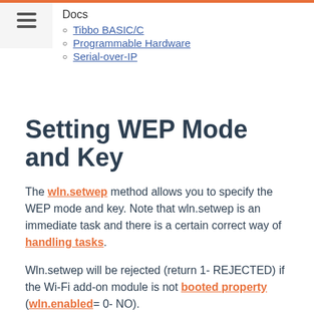Docs
Tibbo BASIC/C
Programmable Hardware
Serial-over-IP
Setting WEP Mode and Key
The wln.setwep method allows you to specify the WEP mode and key. Note that wln.setwep is an immediate task and there is a certain correct way of handling tasks.
Wln.setwep will be rejected (return 1- REJECTED) if the Wi-Fi add-on module is not booted property (wln.enabled= 0- NO).
The mode can be either DISABLED, WEP64, or WEP128. WEP key is entered as a HEX string, not ASCII string.